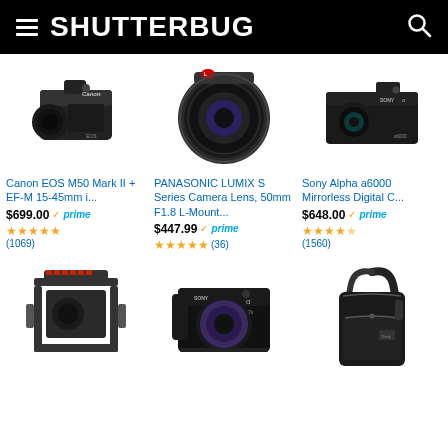SHUTTERBUG
[Figure (photo): Canon EOS M50 Mark II camera with EF-M 15-45mm lens]
Canon EOS M50 Mark II + EF-M 15-45mm i...
$699.00 ✓prime ★★★★★ (1069)
[Figure (photo): Panasonic Lumix S Series 50mm F1.8 L-Mount camera lens]
PANASONIC LUMIX S Series Camera Lens, 50mm F1.8 L-Mount...
$447.99 ✓prime ★★★★★ (36)
[Figure (photo): Sony Alpha a6000 Mirrorless Digital Camera]
Sony Alpha a6000 Mirrorless Digital C...
$648.00 ✓prime ★★★★☆ (1560)
[Figure (photo): Camera cage rig with red accents and handle]
[Figure (photo): Sony Alpha A7 full-frame mirrorless camera body]
[Figure (photo): Black camera sling/shoulder bag]